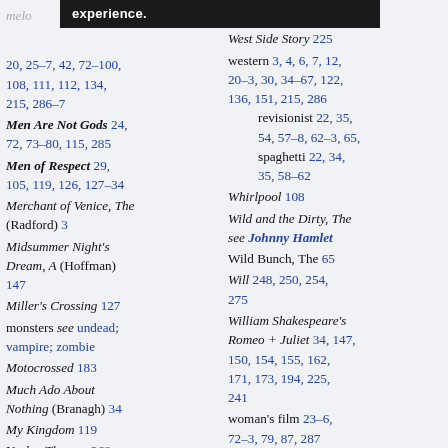melo- experience.
20, 25–7, 42, 72–100, 108, 111, 112, 134, 215, 286–7
Men Are Not Gods 24, 72, 73–80, 115, 285
Men of Respect 29, 105, 119, 126, 127–34
Merchant of Venice, The (Radford) 3
Midsummer Night's Dream, A (Hoffman) 147
Miller's Crossing 127
monsters see undead; vampire; zombie
Motocrossed 183
Much Ado About Nothing (Branagh) 34
My Kingdom 119
Nashe, Thomas 268, 269
neo-noir 27–9, 105,
265
West Side Story 225
western 3, 4, 6, 7, 12, 20–3, 30, 34–67, 122, 136, 151, 215, 286
revisionist 22, 35, 54, 57–8, 62–3, 65,
spaghetti 22, 34, 35, 58–62
Whirlpool 108
Wild and the Dirty, The see Johnny Hamlet
Wild Bunch, The 65
Will 248, 250, 254, 275
William Shakespeare's Romeo + Juliet 34, 147, 150, 154, 155, 162, 171, 173, 194, 225, 241
woman's film 23–6, 72–3, 79, 87, 287